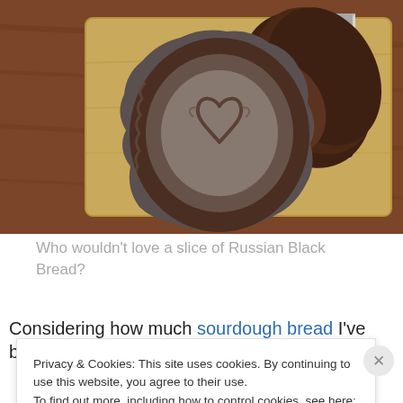[Figure (photo): A round rustic Russian Black Bread loaf with a heart scored into the top, dusted with flour, on a wooden cutting board. Several slices are cut and a serrated bread knife is visible to the right, on a wooden table background.]
Who wouldn't love a slice of Russian Black Bread?
Considering how much sourdough bread I've been baking
Privacy & Cookies: This site uses cookies. By continuing to use this website, you agree to their use.
To find out more, including how to control cookies, see here: Cookie Policy